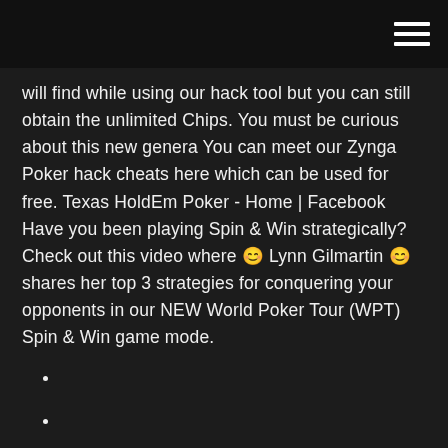will find while using our hack tool but you can still obtain the unlimited Chips. You must be curious about this new genera You can meet our Zynga Poker hack cheats here which can be used for free. Texas HoldEm Poker - Home | Facebook Have you been playing Spin & Win strategically? Check out this video where 😊 Lynn Gilmartin 😊 shares her top 3 strategies for conquering your opponents in our NEW World Poker Tour (WPT) Spin & Win game mode.